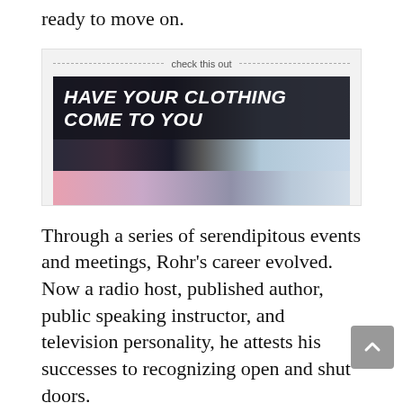ready to move on.
[Figure (other): Advertisement banner: 'check this out' dashed divider line, then a dark banner reading 'HAVE YOUR CLOTHING COME TO YOU' in bold italic white text on a dark background, with a colorful clothing/closet image below.]
Through a series of serendipitous events and meetings, Rohr's career evolved. Now a radio host, published author, public speaking instructor, and television personality, he attests his successes to recognizing open and shut doors.
“You never know what the path is. You go through the doors that open. There are people who say you need to kick down the door, beat